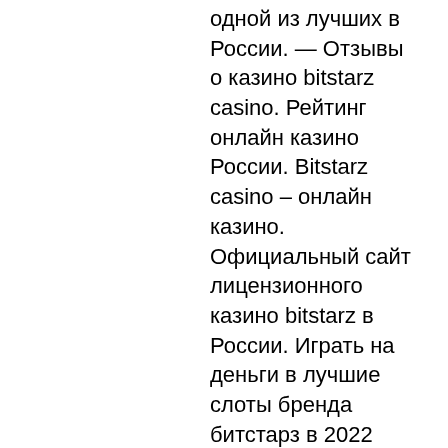одной из лучших в России. — Отзывы о казино bitstarz casino. Рейтинг онлайн казино России. Bitstarz casino – онлайн казино. Официальный сайт лицензионного казино bitstarz в России. Играть на деньги в лучшие слоты бренда битстарз в 2022 году. Полная компьютерная версия с топовыми. 7, curacao (antillephone n. Найдите магазин официального партнёра или позвоните в службу поддержки по телефону 8-800-333-51-73. © 2021 apple inc. Для игроков из России сегодня есть широкий список компаний, среди которых присутствуют лучшие, bitstarz casino bonus code 20 fs on sign up. Slots, video poker, table games, live casino, roulette. Первый депозит — бонус 100% до 100 евро или 1 btc; · второй депозит — бонус 50% до 100 € / 1btc, · третий депозит — бонус 50% до. Данное казино не